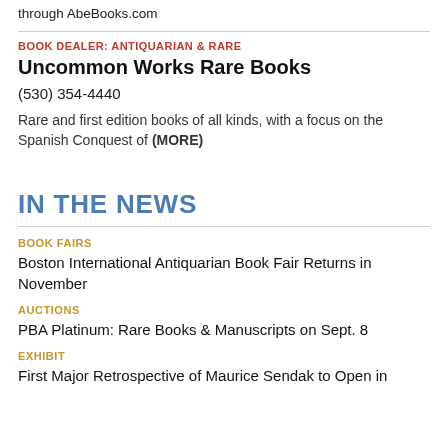through AbeBooks.com
BOOK DEALER: ANTIQUARIAN & RARE
Uncommon Works Rare Books
(530) 354-4440
Rare and first edition books of all kinds, with a focus on the Spanish Conquest of (MORE)
IN THE NEWS
BOOK FAIRS
Boston International Antiquarian Book Fair Returns in November
AUCTIONS
PBA Platinum: Rare Books & Manuscripts on Sept. 8
EXHIBIT
First Major Retrospective of Maurice Sendak to Open in